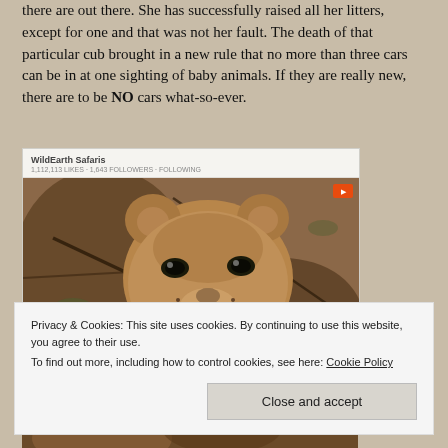there are out there. She has successfully raised all her litters, except for one and that was not her fault. The death of that particular cub brought in a new rule that no more than three cars can be in at one sighting of baby animals. If they are really new, there are to be NO cars what-so-ever.
[Figure (screenshot): Embedded social media card from WildEarth Safaris showing a close-up photo of a lion cub face peering through branches]
Privacy & Cookies: This site uses cookies. By continuing to use this website, you agree to their use.
To find out more, including how to control cookies, see here: Cookie Policy
Close and accept